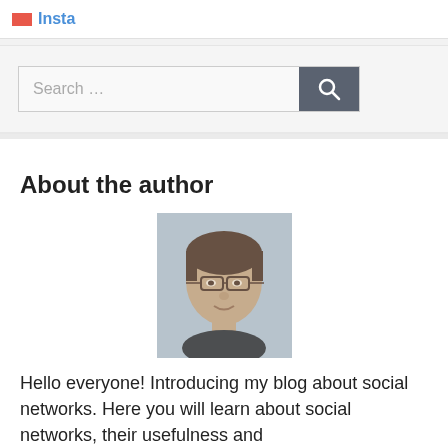Insta
[Figure (other): Search bar with placeholder text 'Search ...' and a dark search button with magnifying glass icon]
About the author
[Figure (photo): Headshot photo of a young man with glasses and short brown hair]
Hello everyone! Introducing my blog about social networks. Here you will learn about social networks, their usefulness and